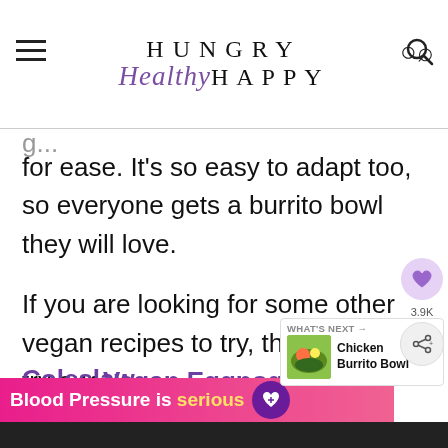Hungry Healthy Happy
for ease. It's so easy to adapt too, so everyone gets a burrito bowl they will love.
If you are looking for some other vegan recipes to try, then why not try our Vegan Eggnog, No[rth] Coleslaw, Butterbean Soup, or
[Figure (other): What's Next widget showing Chicken Burrito Bowl with food image]
[Figure (other): Social share overlay with heart icon (3.9K) and share icon]
[Figure (other): Blood Pressure is serious advertisement banner with purple heart icon]